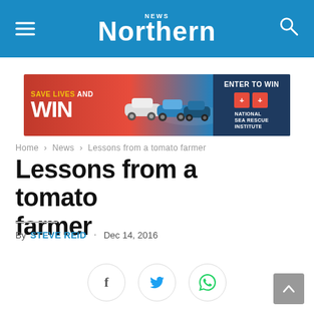Northern News
[Figure (illustration): Advertisement banner: Save Lives and WIN – cars image – Enter to Win – National Sea Rescue Institute]
Home › News › Lessons from a tomato farmer
Lessons from a tomato farmer
By STEVE REID . Dec 14, 2016
[Figure (infographic): Social share buttons: Facebook, Twitter, WhatsApp]